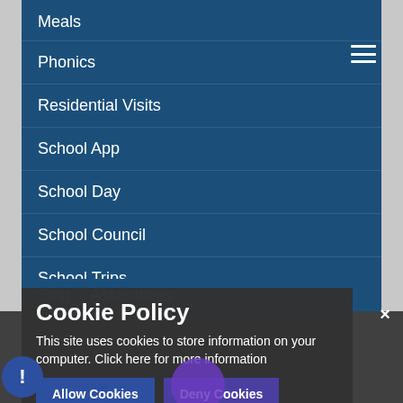Meals
Phonics
Residential Visits
School App
School Day
School Council
School Trips
Sing Assemblies
Cookie Policy
This site uses cookies to store information on your computer. Click here for more information
Allow Cookies
Deny Cookies